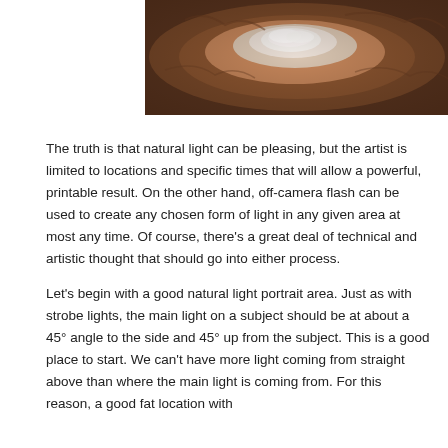[Figure (photo): Aerial or top-down photograph of a rocky crater-like geological formation with reddish-brown rocky walls and a pale whitish/foggy center]
The truth is that natural light can be pleasing, but the artist is limited to locations and specific times that will allow a powerful, printable result. On the other hand, off-camera flash can be used to create any chosen form of light in any given area at most any time. Of course, there's a great deal of technical and artistic thought that should go into either process.
Let's begin with a good natural light portrait area. Just as with strobe lights, the main light on a subject should be at about a 45° angle to the side and 45° up from the subject. This is a good place to start. We can't have more light coming from straight above than where the main light is